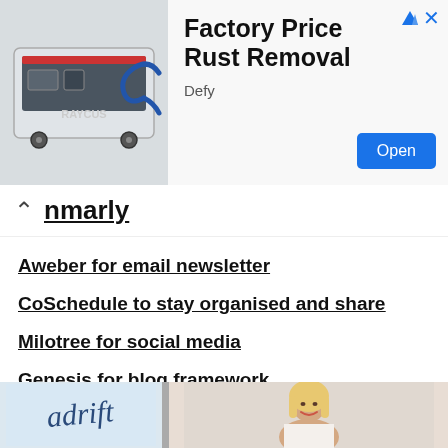[Figure (photo): Advertisement banner showing a rust removal machine (laser/industrial cleaner on wheels) with text 'Factory Price Rust Removal', brand 'Defy', and an 'Open' button]
nmarly
Aweber for email newsletter
CoSchedule to stay organised and share
Milotree for social media
Genesis for blog framework
FoodiePro is my theme
Hosting with WPEngine
[Figure (photo): Partial view of two images at bottom of page: left shows stylized 'adrift' script text logo on light blue background, right shows a smiling blonde woman]